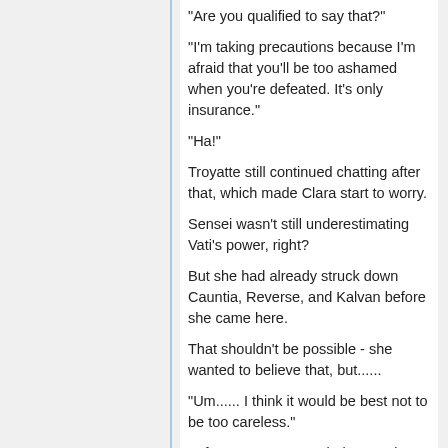"Are you qualified to say that?"
"I'm taking precautions because I'm afraid that you'll be too ashamed when you're defeated. It's only insurance."
"Ha!"
Troyatte still continued chatting after that, which made Clara start to worry.
Sensei wasn't still underestimating Vati's power, right?
But she had already struck down Cauntia, Reverse, and Kalvan before she came here.
That shouldn't be possible - she wanted to believe that, but......
"Um...... I think it would be best not to be too careless."
"Of course, we're not being careless, former disciple."